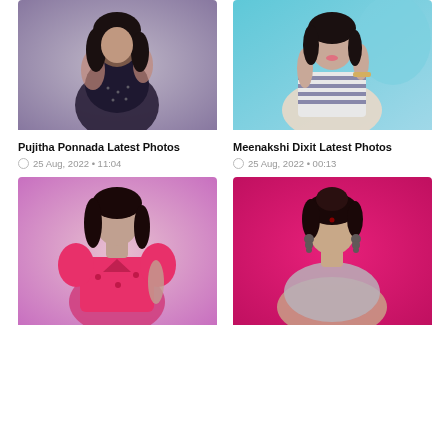[Figure (photo): Pujitha Ponnada in a dark floral outfit against a neutral background]
[Figure (photo): Meenakshi Dixit in a striped off-shoulder top against a teal background]
Pujitha Ponnada Latest Photos
25 Aug, 2022 • 11:04
Meenakshi Dixit Latest Photos
25 Aug, 2022 • 00:13
[Figure (photo): Young woman in pink puff-sleeve crop top against a pink-purple background]
[Figure (photo): Woman with braided updo wearing earrings against a pink background]